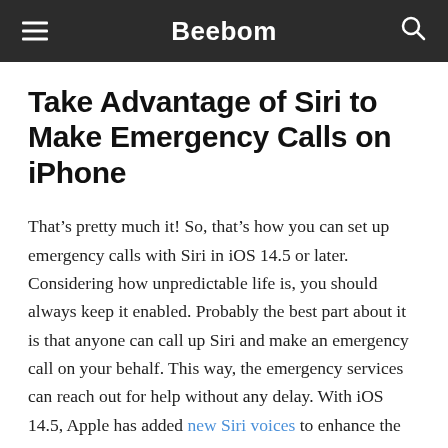Beebom
Take Advantage of Siri to Make Emergency Calls on iPhone
That’s pretty much it! So, that’s how you can set up emergency calls with Siri in iOS 14.5 or later. Considering how unpredictable life is, you should always keep it enabled. Probably the best part about it is that anyone can call up Siri and make an emergency call on your behalf. This way, the emergency services can reach out for help without any delay. With iOS 14.5, Apple has added new Siri voices to enhance the